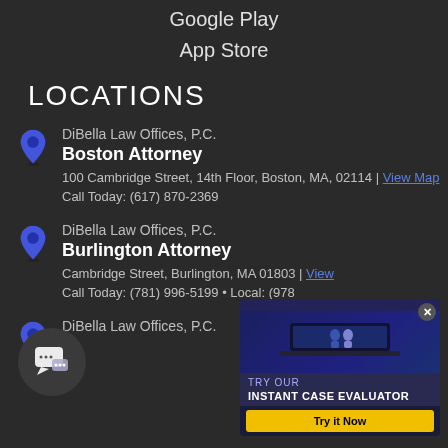Google Play
App Store
LOCATIONS
DiBella Law Offices, P.C.
Boston Attorney
100 Cambridge Street, 14th Floor, Boston, MA, 02114 | View Map
Call Today: (617) 870-2369
DiBella Law Offices, P.C.
Burlington Attorney
Cambridge Street, Burlington, MA 01803 | View
Call Today: (781) 996-5199 • Local: (978)...
DiBella Law Offices, P.C.
[Figure (infographic): Advertisement banner: TRY OUR INSTANT CASE EVALUATOR with Try it Now button and laptop image]